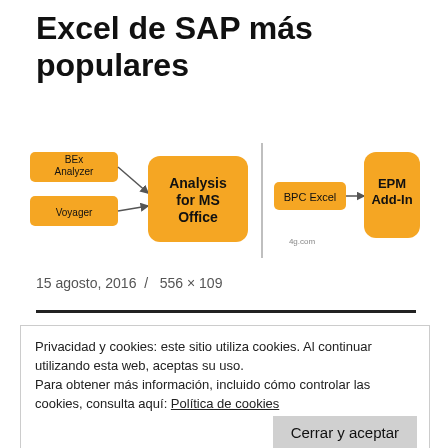Excel de SAP más populares
[Figure (flowchart): Flowchart showing BEx Analyzer and Voyager arrows pointing to Analysis for MS Office box, separated by vertical line from BPC Excel arrow pointing to EPM Add-In box. Watermark: 4g.com]
15 agosto, 2016  /  556 × 109
Privacidad y cookies: este sitio utiliza cookies. Al continuar utilizando esta web, aceptas su uso.
Para obtener más información, incluido cómo controlar las cookies, consulta aquí: Política de cookies
Cerrar y aceptar